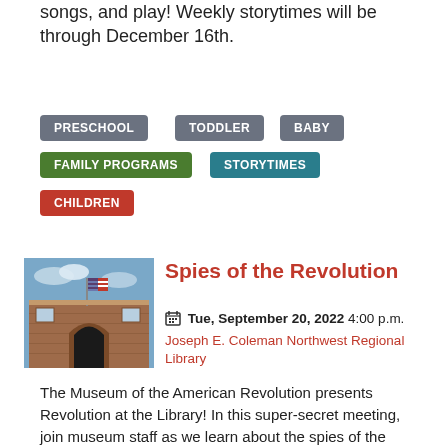songs, and play! Weekly storytimes will be through December 16th.
PRESCHOOL
TODDLER
BABY
FAMILY PROGRAMS
STORYTIMES
CHILDREN
[Figure (photo): Exterior photo of the Joseph E. Coleman Northwest Regional Library building, a brick building with an arched entrance and an American flag visible.]
Spies of the Revolution
Tue, September 20, 2022 4:00 p.m.
Joseph E. Coleman Northwest Regional Library
The Museum of the American Revolution presents Revolution at the Library! In this super-secret meeting, join museum staff as we learn about the spies of the Revolution! We'll discover who these spies were and all the ways they